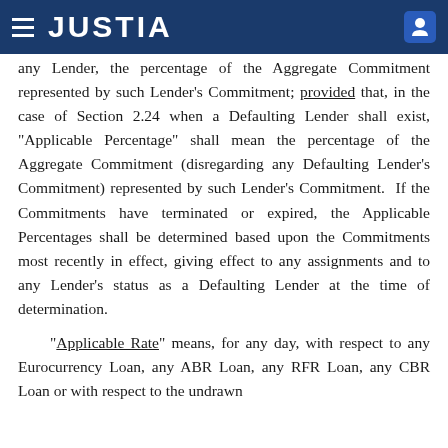JUSTIA
any Lender, the percentage of the Aggregate Commitment represented by such Lender’s Commitment; provided that, in the case of Section 2.24 when a Defaulting Lender shall exist, “Applicable Percentage” shall mean the percentage of the Aggregate Commitment (disregarding any Defaulting Lender’s Commitment) represented by such Lender’s Commitment. If the Commitments have terminated or expired, the Applicable Percentages shall be determined based upon the Commitments most recently in effect, giving effect to any assignments and to any Lender’s status as a Defaulting Lender at the time of determination.
“Applicable Rate” means, for any day, with respect to any Eurocurrency Loan, any ABR Loan, any RFR Loan, any CBR Loan or with respect to the undrawn fees payable hereunder, the per annum rate per the